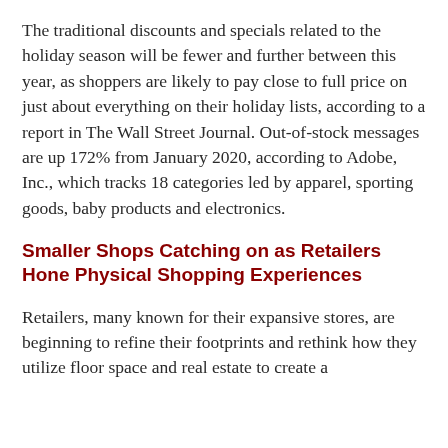The traditional discounts and specials related to the holiday season will be fewer and further between this year, as shoppers are likely to pay close to full price on just about everything on their holiday lists, according to a report in The Wall Street Journal. Out-of-stock messages are up 172% from January 2020, according to Adobe, Inc., which tracks 18 categories led by apparel, sporting goods, baby products and electronics.
Smaller Shops Catching on as Retailers Hone Physical Shopping Experiences
Retailers, many known for their expansive stores, are beginning to refine their footprints and rethink how they utilize floor space and real estate to create a